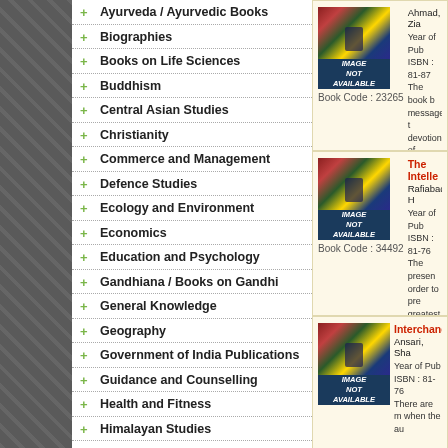+ Ayurveda / Ayurvedic Books
+ Biographies
+ Books on Life Sciences
+ Buddhism
+ Central Asian Studies
+ Christianity
+ Commerce and Management
+ Defence Studies
+ Ecology and Environment
+ Economics
+ Education and Psychology
+ Gandhiana / Books on Gandhi
+ General Knowledge
+ Geography
+ Government of India Publications
+ Guidance and Counselling
+ Health and Fitness
+ Himalayan Studies
+ Hinduism
+ History
+ Human Rights
+ Information Technology
[Figure (other): Book cover image placeholder - IMAGE NOT AVAILABLE, Book Code: 23265]
Ahmad, Zia
Year of Pub...
ISBN : 81-87...
The book b... message, t... devotion of...
Price : US$...
[Figure (other): Book cover image placeholder - IMAGE NOT AVAILABLE, Book Code: 34492]
The Intelle...
Rafiabadi, H...
Year of Pub...
ISBN : 81-76...
The presen... order to pre... greatest ori...
Price : US$...
[Figure (other): Book cover image placeholder - IMAGE NOT AVAILABLE, Book Code shown]
Interchang...
Ansari, Sha...
Year of Pub...
ISBN : 81-76...
There are m... when the au...